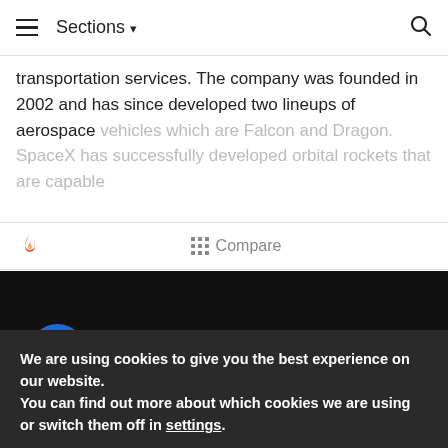≡  Sections ▾  🔍
transportation services. The company was founded in 2002 and has since developed two lineups of aerospace vehicles which are Falcon and Dragon. SpaceX has successfully developed orbital rockets that are capable
[Figure (screenshot): Toolbar with flame icon and Compare button with grid icon]
[Figure (screenshot): Dark background area with partial blue circle and green element visible]
We are using cookies to give you the best experience on our website.
You can find out more about which cookies we are using or switch them off in settings.
Accept